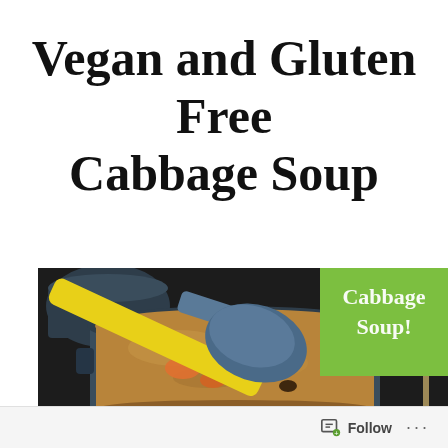Vegan and Gluten Free Cabbage Soup
[Figure (photo): A pot of simmering cabbage soup on a stovetop with a yellow-handled blue ladle resting in it. A green overlay label in the upper right reads 'Cabbage Soup!']
Follow ...